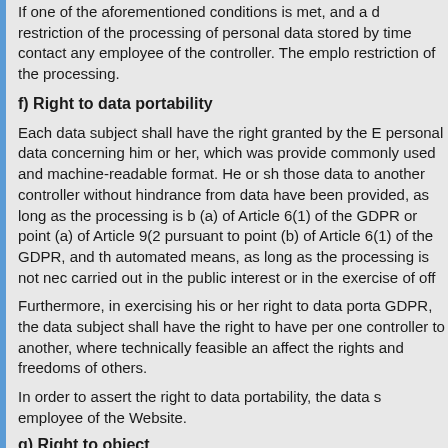If one of the aforementioned conditions is met, and a d restriction of the processing of personal data stored by time contact any employee of the controller. The emplo restriction of the processing.
f) Right to data portability
Each data subject shall have the right granted by the E personal data concerning him or her, which was provide commonly used and machine-readable format. He or sh those data to another controller without hindrance from data have been provided, as long as the processing is b (a) of Article 6(1) of the GDPR or point (a) of Article 9(2 pursuant to point (b) of Article 6(1) of the GDPR, and th automated means, as long as the processing is not nec carried out in the public interest or in the exercise of off
Furthermore, in exercising his or her right to data porta GDPR, the data subject shall have the right to have per one controller to another, where technically feasible an affect the rights and freedoms of others.
In order to assert the right to data portability, the data s employee of the Website.
g) Right to object